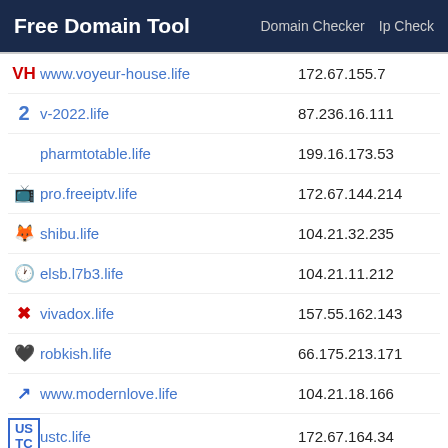Free Domain Tool   Domain Checker   Ip Check
www.voyeur-house.life   172.67.155.7   US
v-2022.life   87.236.16.111   RU
pharmtotable.life   199.16.173.53   US
pro.freeiptv.life   172.67.144.214   CA
shibu.life   104.21.32.235   US
elsb.l7b3.life   104.21.11.212   US
vivadox.life   157.55.162.143   US
robkish.life   66.175.213.171   US
www.modernlove.life   104.21.18.166   US
ustc.life   172.67.164.34   US
allin.life   35.208.64.43   US
glamrn.life   74.208.236.169   US
mama.pornoo.life   104.21.11.70   US